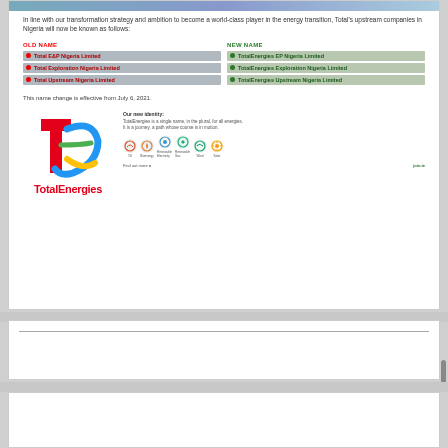In line with our transformation strategy and ambition to become a world-class player in the energy transition, Total's upstream companies in Nigeria will now be known as follows:
| OLD NAME | NEW NAME |
| --- | --- |
| Total E&P Nigeria Limited | TotalEnergies EP Nigeria Limited |
| Total Exploration Nigeria Limited | TotalEnergies Exploration Nigeria Limited |
| Total Upstream Nigeria Limited | TotalEnergies Upstream Nigeria Limited |
This name change is effective from July 6, 2021.
[Figure (logo): TotalEnergies logo with colorful TE symbol and company name in red, alongside 'Our new identity' text and energy icons]